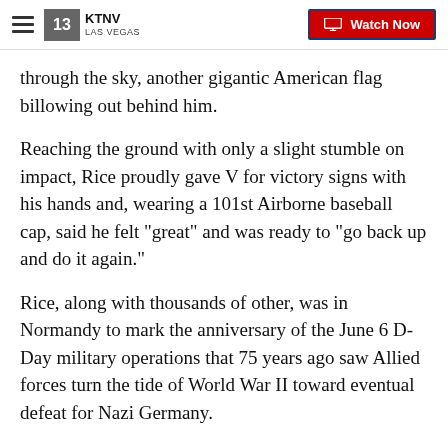KTNV LAS VEGAS | Watch Now
through the sky, another gigantic American flag billowing out behind him.
Reaching the ground with only a slight stumble on impact, Rice proudly gave V for victory signs with his hands and, wearing a 101st Airborne baseball cap, said he felt "great" and was ready to "go back up and do it again."
Rice, along with thousands of other, was in Normandy to mark the anniversary of the June 6 D-Day military operations that 75 years ago saw Allied forces turn the tide of World War II toward eventual defeat for Nazi Germany.